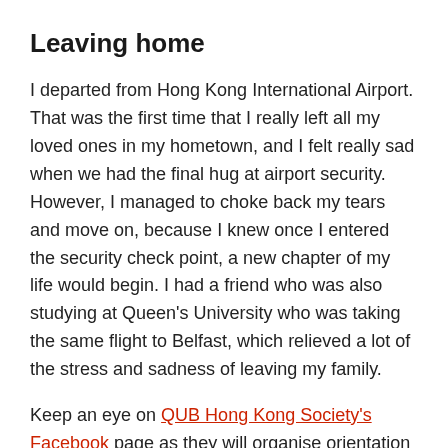Leaving home
I departed from Hong Kong International Airport. That was the first time that I really left all my loved ones in my hometown, and I felt really sad when we had the final hug at airport security. However, I managed to choke back my tears and move on, because I knew once I entered the security check point, a new chapter of my life would begin. I had a friend who was also studying at Queen's University who was taking the same flight to Belfast, which relieved a lot of the stress and sadness of leaving my family.
Keep an eye on QUB Hong Kong Society's Facebook page as they will organise orientation in Hong Kong in August for Freshers to get to know each other before